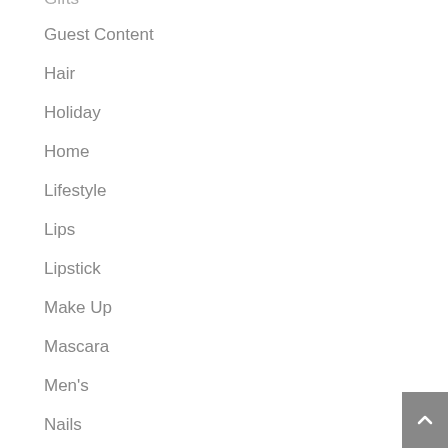Gifts
Guest Content
Hair
Holiday
Home
Lifestyle
Lips
Lipstick
Make Up
Mascara
Men's
Nails
News
Perfume
Product Reviews